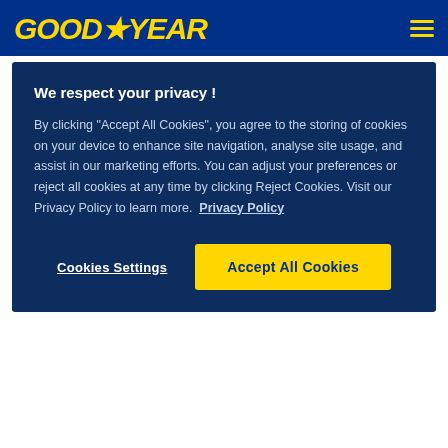GOODYEAR
We respect your privacy !
By clicking "Accept All Cookies", you agree to the storing of cookies on your device to enhance site navigation, analyse site usage, and assist in our marketing efforts. You can adjust your preferences or reject all cookies at any time by clicking Reject Cookies. Visit our Privacy Policy to learn more. Privacy Policy
Cookies Settings
Accept All Cookies
When is it important?
When you're driving on winding roads.
Rolling resistance
What does it mean?
How easily a tyre rolls across a surface.